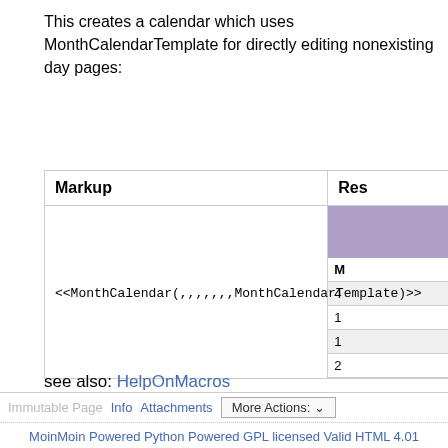This creates a calendar which uses MonthCalendarTemplate for directly editing nonexisting day pages:
| Markup | Res… |
| --- | --- |
| <<MonthCalendar(,,,,,,,MonthCalendarTemplate)>> | [calendar widget] |
see also: HelpOnMacros
Immutable Page   Info   Attachments   More Actions:   MoinMoin Powered   Python Powered   GPL licensed   Valid HTML 4.01